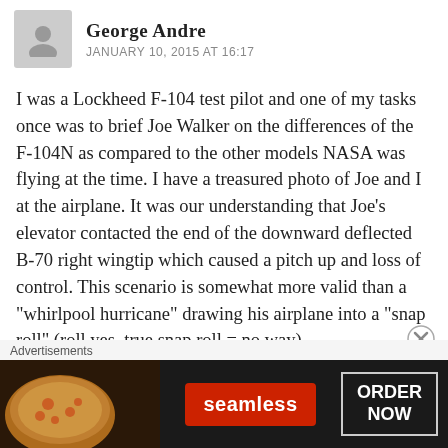George Andre
JANUARY 10, 2015 AT 16:17
I was a Lockheed F-104 test pilot and one of my tasks once was to brief Joe Walker on the differences of the F-104N as compared to the other models NASA was flying at the time. I have a treasured photo of Joe and I at the airplane. It was our understanding that Joe’s elevator contacted the end of the downward deflected B-70 right wingtip which caused a pitch up and loss of control. This scenario is somewhat more valid than a “whirlpool hurricane” drawing his airplane into a “snap roll” (roll yes, true snap roll = no way).
The other unmentioned fact of this accident, as
[Figure (other): Seamless food delivery advertisement banner with pizza image, Seamless logo button in red, and ORDER NOW button with dark background]